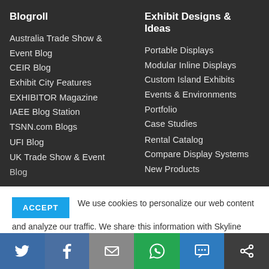Blogroll
Australia Trade Show & Event Blog
CEIR Blog
Exhibit City Features
EXHIBITOR Magazine
IAEE Blog Station
TSNN.com Blogs
UFI Blog
UK Trade Show & Event Blog
Exhibit Designs & Ideas
Portable Displays
Modular Inline Displays
Custom Island Exhibits
Events & Environments
Portfolio
Case Studies
Rental Catalog
Compare Display Systems
New Products
ACCEPT  We use cookies to personalize our web content and analyze our traffic. We share this information with Skyline dealers who may combine it with information you provided them
[Figure (infographic): Social sharing bar with Twitter, Facebook, Email, WhatsApp, SMS, and share icons]